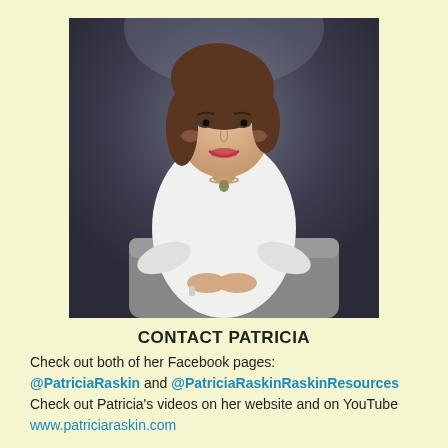[Figure (photo): Professional portrait photo of Patricia Raskin, a woman with brown shoulder-length hair wearing a white top, seated and leaning on a grey chair, smiling at camera against a dark background.]
CONTACT PATRICIA
Check out both of her Facebook pages:
@PatriciaRaskin and @PatriciaRaskinRaskinResources
Check out Patricia's videos on her website and on YouTube
www.patriciaraskin.com